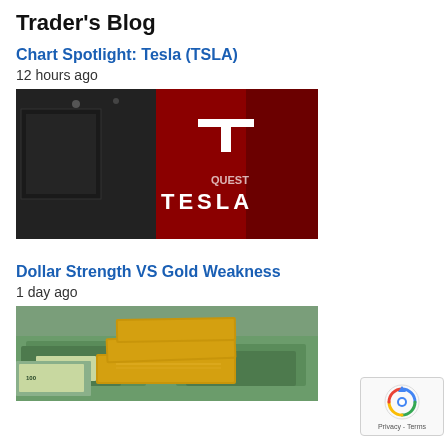Trader's Blog
Chart Spotlight: Tesla (TSLA)
12 hours ago
[Figure (photo): Tesla showroom with red Tesla logo and branding on the wall, TESLA text prominently displayed]
Dollar Strength VS Gold Weakness
1 day ago
[Figure (photo): Gold bars stacked on top of US dollar bills]
[Figure (other): reCAPTCHA privacy badge with spinning logo and Privacy - Terms text]